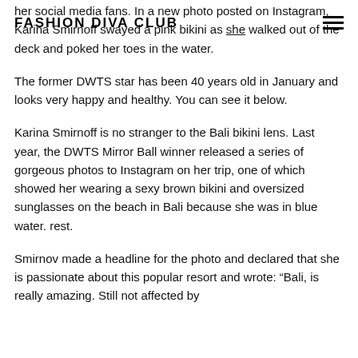FASHION DIVA CLUB
her social media fans. In a new photo posted on Instagram, Karina Smirnoff swayed a pink bikini as she walked out of the deck and poked her toes in the water.
The former DWTS star has been 40 years old in January and looks very happy and healthy. You can see it below.
Karina Smirnoff is no stranger to the Bali bikini lens. Last year, the DWTS Mirror Ball winner released a series of gorgeous photos to Instagram on her trip, one of which showed her wearing a sexy brown bikini and oversized sunglasses on the beach in Bali because she was in blue water. rest.
Smirnov made a headline for the photo and declared that she is passionate about this popular resort and wrote: “Bali, is really amazing. Still not affected by